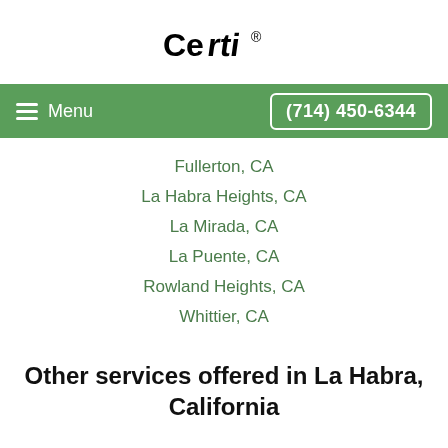[Figure (logo): Certi logo in stylized text]
Menu | (714) 450-6344
Fullerton, CA
La Habra Heights, CA
La Mirada, CA
La Puente, CA
Rowland Heights, CA
Whittier, CA
Other services offered in La Habra, California